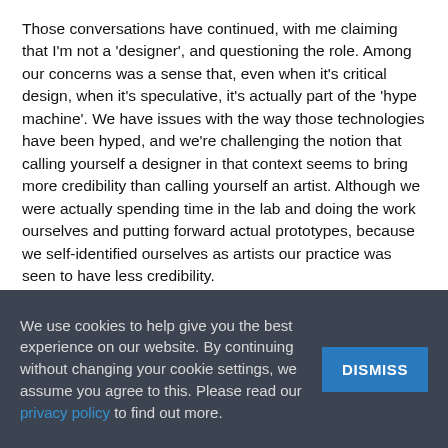Those conversations have continued, with me claiming that I'm not a 'designer', and questioning the role. Among our concerns was a sense that, even when it's critical design, when it's speculative, it's actually part of the 'hype machine'. We have issues with the way those technologies have been hyped, and we're challenging the notion that calling yourself a designer in that context seems to bring more credibility than calling yourself an artist. Although we were actually spending time in the lab and doing the work ourselves and putting forward actual prototypes, because we self-identified ourselves as artists our practice was seen to have less credibility.
Our argument is that we had more credibility than the speculative designers who were imagining those fantastical scenarios. So when we had this opportunity to come to the
We use cookies to help give you the best experience on our website. By continuing without changing your cookie settings, we assume you agree to this. Please read our privacy policy to find out more.